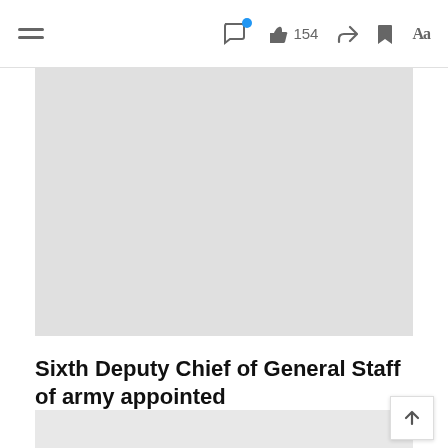≡  💬 154 ↗ 🔖 Aa
[Figure (photo): Large image placeholder (light gray rectangle) at top of article]
Sixth Deputy Chief of General Staff of army appointed
NEWS
[Figure (photo): Partial image placeholder (light gray rectangle) at bottom of page]